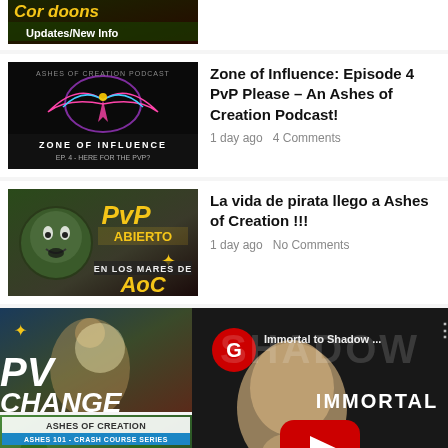[Figure (screenshot): Partial thumbnail for a video about card updates/new info with yellow text on dark background]
[Figure (screenshot): Thumbnail for Zone of Influence Episode 4 podcast with phoenix logo on dark background]
Zone of Influence: Episode 4 PvP Please – An Ashes of Creation Podcast!
1 day ago   4 Comments
[Figure (screenshot): Thumbnail for La vida de pirata video with PVP ABIERTO EN LOS MARES DE AoC text]
La vida de pirata llego a Ashes of Creation !!!
1 day ago   No Comments
[Figure (screenshot): Thumbnail for PV CHANGE video on left side and YouTube video player showing Immortal to Shadow video with Diablo Immortal theme on right]
[Figure (screenshot): Partial thumbnail for Ashes of Creation crash course series at bottom left]